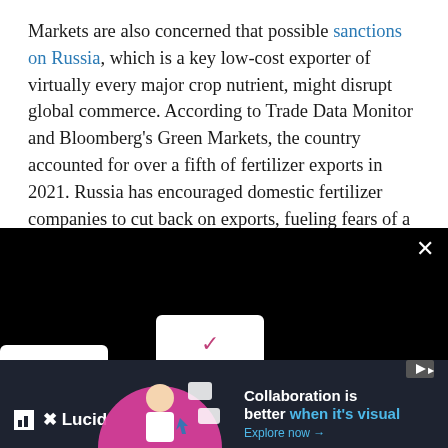Markets are also concerned that possible sanctions on Russia, which is a key low-cost exporter of virtually every major crop nutrient, might disrupt global commerce. According to Trade Data Monitor and Bloomberg's Green Markets, the country accounted for over a fifth of fertilizer exports in 2021. Russia has encouraged domestic fertilizer companies to cut back on exports, fueling fears of a supply deficit.
[Figure (screenshot): Black overlay panel with a white close (X) button in the top-right corner, containing UI dropdown elements (white rounded cards with chevrons) on the left, a teal horizontal bar with a small X button on the right side, and a partial photo of a person in the far right. Below is a dark navy advertisement banner for Lucid featuring a graphic of a person with floating UI elements, text reading 'Collaboration is better when it's visual' and 'Explore now →'.]